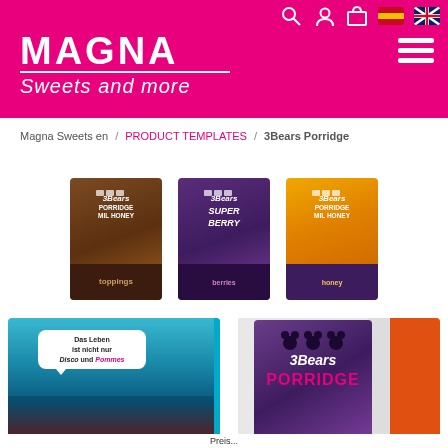[Figure (screenshot): Magna Sweets and more website header with pink/magenta background, logo, navigation icons and hamburger menu]
Magna Sweets en / PRODUCT TEMPLATES / 3Bears Porridge
[Figure (photo): Three 3Bears Porridge product packages: brown chocolate flavor, purple flavor, and yellow/orange flavor]
[Figure (photo): Bottom left: book or card with underwater scene and speech bubble text 'Das Leben ist nicht nur Disco und Pommes'. Bottom right: 3Bears Porridge purple package product close-up]